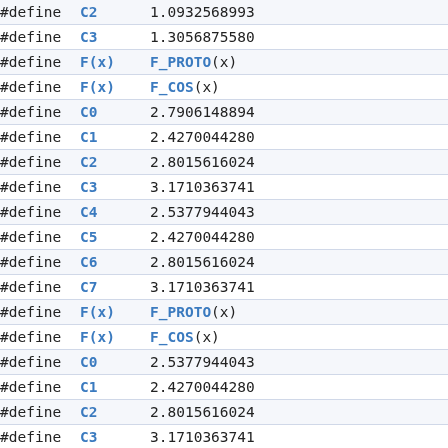| #define | C2 | 1.0932568993 |
| #define | C3 | 1.3056875580 |
| #define | F(x) | F_PROTO(x) |
| #define | F(x) | F_COS(x) |
| #define | C0 | 2.7906148894 |
| #define | C1 | 2.4270044280 |
| #define | C2 | 2.8015616024 |
| #define | C3 | 3.1710363741 |
| #define | C4 | 2.5377944043 |
| #define | C5 | 2.4270044280 |
| #define | C6 | 2.8015616024 |
| #define | C7 | 3.1710363741 |
| #define | F(x) | F_PROTO(x) |
| #define | F(x) | F_COS(x) |
| #define | C0 | 2.5377944043 |
| #define | C1 | 2.4270044280 |
| #define | C2 | 2.8015616024 |
| #define | C3 | 3.1710363741 |